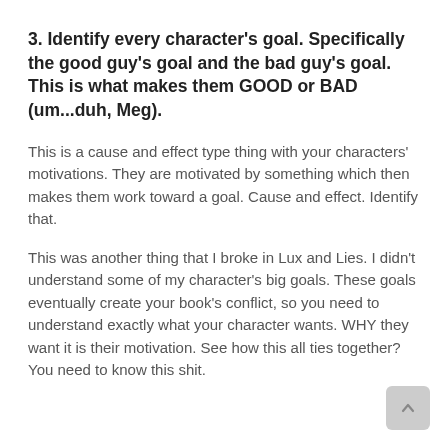3. Identify every character's goal. Specifically the good guy's goal and the bad guy's goal. This is what makes them GOOD or BAD (um...duh, Meg).
This is a cause and effect type thing with your characters' motivations. They are motivated by something which then makes them work toward a goal. Cause and effect. Identify that.
This was another thing that I broke in Lux and Lies. I didn't understand some of my character's big goals. These goals eventually create your book's conflict, so you need to understand exactly what your character wants. WHY they want it is their motivation. See how this all ties together? You need to know this shit.